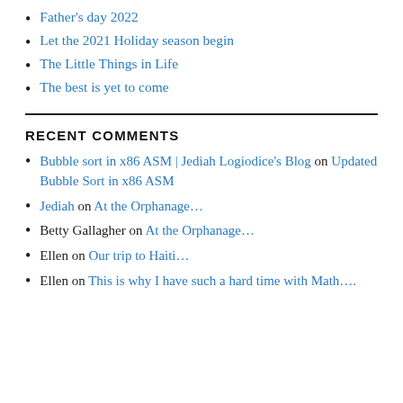Father's day 2022
Let the 2021 Holiday season begin
The Little Things in Life
The best is yet to come
RECENT COMMENTS
Bubble sort in x86 ASM | Jediah Logiodice's Blog on Updated Bubble Sort in x86 ASM
Jediah on At the Orphanage...
Betty Gallagher on At the Orphanage...
Ellen on Our trip to Haiti...
Ellen on This is why I have such a hard time with Math....